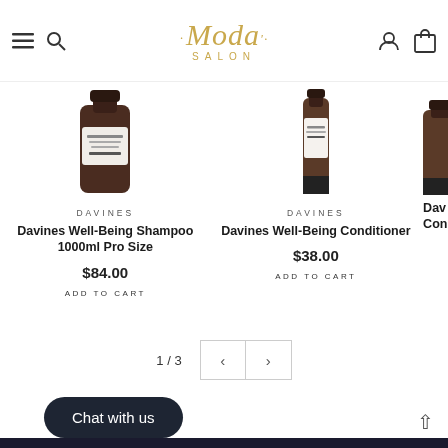Moda Salon — navigation header with hamburger menu, search, user icon, and cart icon
[Figure (photo): Davines Well-Being Shampoo 1000ml Pro Size product bottle (dark brown/amber cylindrical container)]
DAVINES
Davines Well-Being Shampoo 1000ml Pro Size
$84.00
ADD TO CART
[Figure (photo): Davines Well-Being Conditioner product bottle (dark amber bottle)]
DAVINES
Davines Well-Being Conditioner
$38.00
ADD TO CART
1 / 3
Chat with us